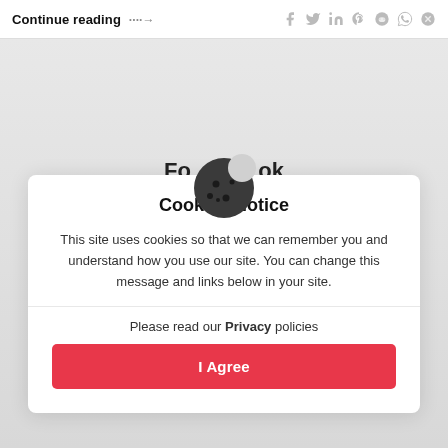Continue reading ....→
[Figure (screenshot): Cookie consent modal dialog with cookie icon, title 'Cookies Notice', descriptive text, privacy policy link, and 'I Agree' button]
Cookies Notice
This site uses cookies so that we can remember you and understand how you use our site. You can change this message and links below in your site.
Please read our Privacy policies
I Agree